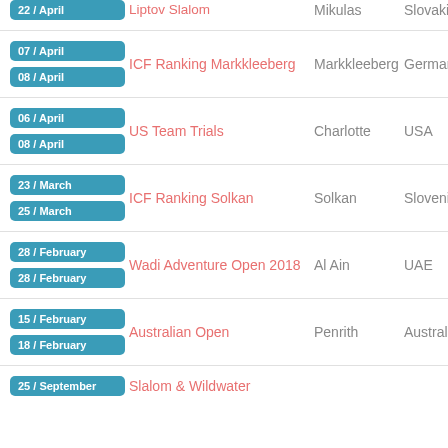| Date | Event | City | Country |
| --- | --- | --- | --- |
| 22 / April | Liptov Slalom | Mikulas | Slovakia |
| 07 / April
08 / April | ICF Ranking Markkleeberg | Markkleeberg | Germany |
| 06 / April
08 / April | US Team Trials | Charlotte | USA |
| 23 / March
25 / March | ICF Ranking Solkan | Solkan | Slovenia |
| 28 / February
28 / February | Wadi Adventure Open 2018 | Al Ain | UAE |
| 15 / February
18 / February | Australian Open | Penrith | Australia |
| 25 / September | Slalom & Wildwater |  |  |